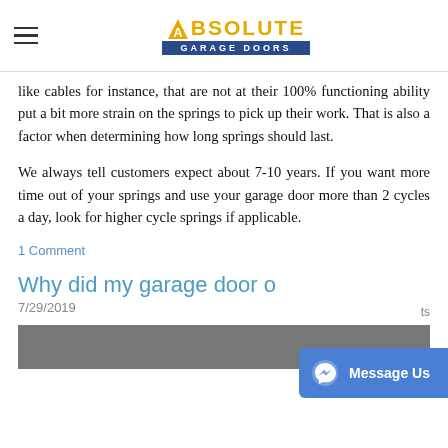Absolute Garage Doors
like cables for instance, that are not at their 100% functioning ability put a bit more strain on the springs to pick up their work. That is also a factor when determining how long springs should last.
We always tell customers expect about 7-10 years. If you want more time out of your springs and use your garage door more than 2 cycles a day, look for higher cycle springs if applicable.
1 Comment
Why did my garage door...
7/29/2019
[Figure (photo): Thumbnail image for article about garage doors]